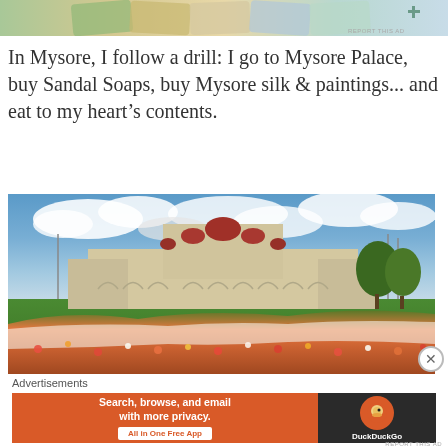[Figure (photo): Top advertisement banner with colorful currency/money imagery]
In Mysore, I follow a drill: I go to Mysore Palace, buy Sandal Soaps, buy Mysore silk & paintings... and eat to my heart’s contents.
[Figure (photo): Photograph of Mysore Palace with colorful flower gardens in the foreground and cloudy blue sky in the background]
Advertisements
[Figure (photo): DuckDuckGo advertisement banner: Search, browse, and email with more privacy. All in One Free App]